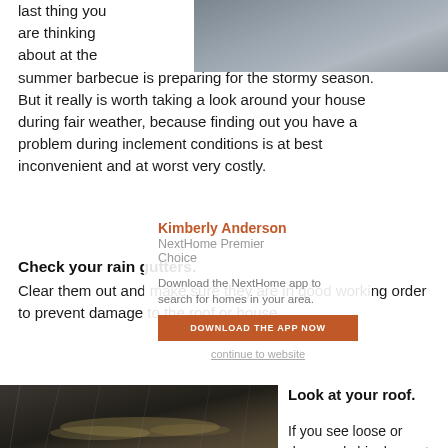[Figure (photo): Dark stormy sky photograph at top right of page]
last thing you are thinking about at the summer barbecue is preparing for the stormy season. But it really is worth taking a look around your house during fair weather, because finding out you have a problem during inclement conditions is at best inconvenient and at worst very costly.
Check your rain gutters.
Clear them out and make sure they are in good working order to prevent damage to the roof or house.
[Figure (infographic): Agent contact card overlay with Kimberly Anderson, NextHome Premier Choice, download app prompt, orange download button, and website link]
[Figure (photo): Close-up photo of rain puddle on ground, dark and moody]
Look at your roof.
If you see loose or damaged shingles, get them repaired. Look for tears and buckling on